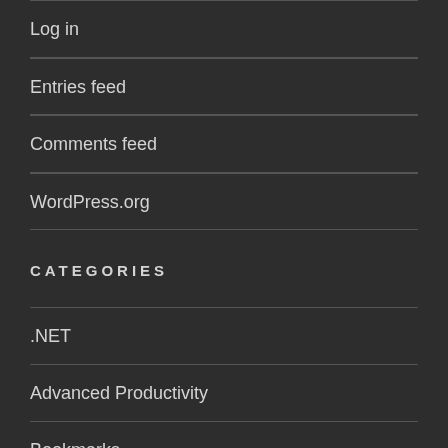Log in
Entries feed
Comments feed
WordPress.org
CATEGORIES
.NET
Advanced Productivity
Bookmarks
Bootstrapper [en]
C/C++